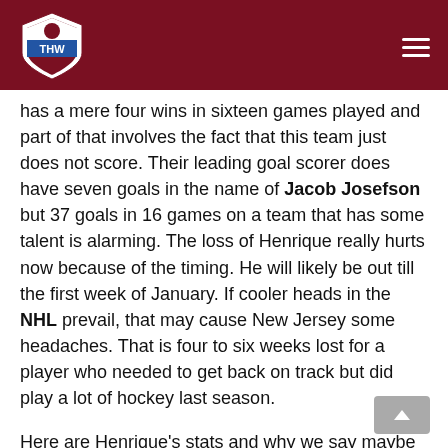THW - The Hockey Writers
has a mere four wins in sixteen games played and part of that involves the fact that this team just does not score. Their leading goal scorer does have seven goals in the name of Jacob Josefson but 37 goals in 16 games on a team that has some talent is alarming. The loss of Henrique really hurts now because of the timing. He will likely be out till the first week of January. If cooler heads in the NHL prevail, that may cause New Jersey some headaches. That is four to six weeks lost for a player who needed to get back on track but did play a lot of hockey last season.
Here are Henrique's stats and why we say maybe this injury is not necessarily a bad thing at a closer look.